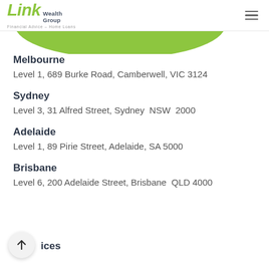Link Wealth Group — Financial Advice – Home Loans
[Figure (other): Green oval button partially visible at top of content area]
Melbourne
Level 1, 689 Burke Road, Camberwell, VIC 3124
Sydney
Level 3, 31 Alfred Street, Sydney  NSW  2000
Adelaide
Level 1, 89 Pirie Street, Adelaide, SA 5000
Brisbane
Level 6, 200 Adelaide Street, Brisbane  QLD 4000
ices